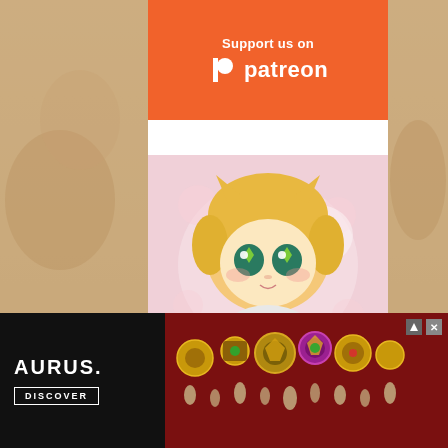[Figure (illustration): Patreon support banner with orange background, white text 'Support us on patreon' with Patreon logo]
[Figure (illustration): Chibi anime character with blonde hair and large sparkly teal eyes, wearing red and white striped shirt, pink floral background]
[Figure (illustration): Ko-fi blue bar with partial text and heart logo visible at bottom]
[Figure (photo): Advertisement banner for AURUS jewelry brand showing ornate gold jewelry on red fabric, with AURUS. wordmark and DISCOVER button, plus ad control icons]
[Figure (illustration): Faded anime background art showing characters on left and right sides]